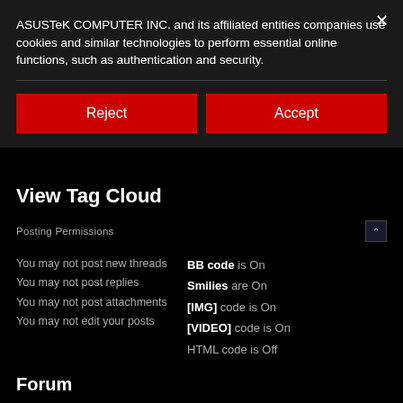ASUSTeK COMPUTER INC. and its affiliated entities companies use cookies and similar technologies to perform essential online functions, such as authentication and security.
[Figure (screenshot): Cookie consent banner with Reject and Accept buttons on dark background]
View Tag Cloud
Posting Permissions
You may not post new threads
You may not post replies
You may not post attachments
You may not edit your posts
BB code is On
Smilies are On
[IMG] code is On
[VIDEO] code is On
HTML code is Off
Forum Rules